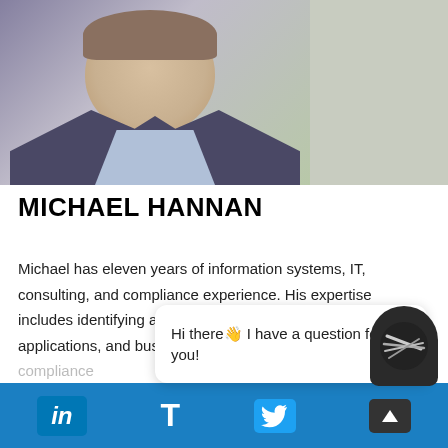[Figure (photo): Professional headshot of Michael Hannan, a man in a dark blazer and light blue shirt, smiling, with a plant visible in the background.]
MICHAEL HANNAN
Michael has eleven years of information systems, IT, consulting, and compliance experience. His expertise includes identifying and implementing general IT systems, applications, and business controls in c[obscured by chat popup] audits.
[Figure (screenshot): Chat popup overlay with message: 'Hi there👋  I have a question for you!' and a chatbot icon in the bottom right corner. A close (x) button appears in the top right of the popup.]
in  T  [Twitter bird icon]  [scroll-up arrow]